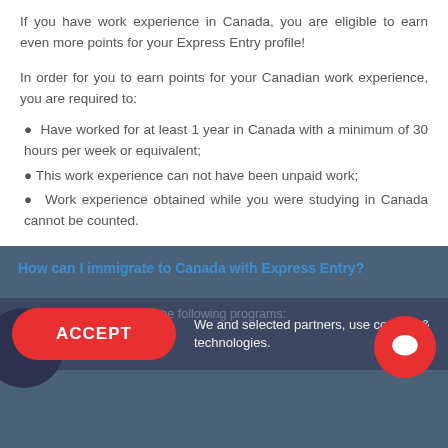If you have work experience in Canada, you are eligible to earn even more points for your Express Entry profile!
In order for you to earn points for your Canadian work experience, you are required to:
Have worked for at least 1 year in Canada with a minimum of 30 hours per week or equivalent;
This work experience can not have been unpaid work;
Work experience obtained while you were studying in Canada cannot be counted.
Are you aware of what are the required points for your immigration profile? Talk to ours Regulated Canadian Immigration Consultants.
How can I immigrate to Canada with Express Entry?
- Federal Skilled Worker